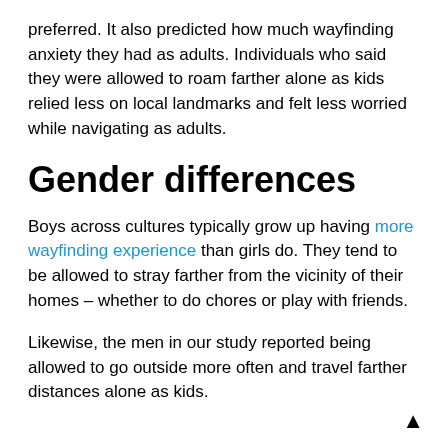preferred. It also predicted how much wayfinding anxiety they had as adults. Individuals who said they were allowed to roam farther alone as kids relied less on local landmarks and felt less worried while navigating as adults.
Gender differences
Boys across cultures typically grow up having more wayfinding experience than girls do. They tend to be allowed to stray farther from the vicinity of their homes – whether to do chores or play with friends.
Likewise, the men in our study reported being allowed to go outside more often and travel farther distances alone as kids.